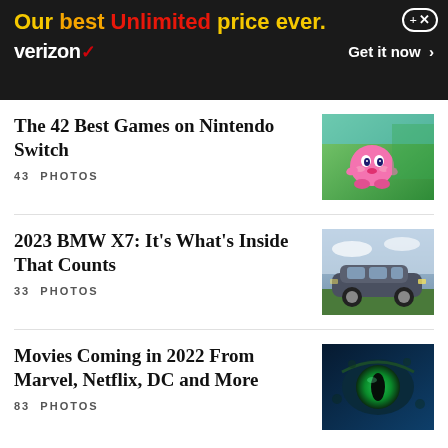[Figure (infographic): Verizon advertisement banner: 'Our best Unlimited price ever.' with Verizon logo and 'Get it now >' CTA on black background]
The 42 Best Games on Nintendo Switch
43 PHOTOS
[Figure (photo): Kirby character from Nintendo game against green background]
2023 BMW X7: It’s What’s Inside That Counts
33 PHOTOS
[Figure (photo): 2023 BMW X7 SUV parked on grass with cloudy sky background]
Movies Coming in 2022 From Marvel, Netflix, DC and More
83 PHOTOS
[Figure (photo): Close-up of a blue alien eye with green iris, likely from a movie]